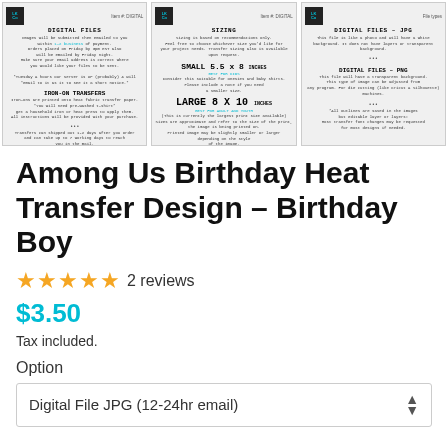[Figure (screenshot): Three product info panels showing Digital Files, Sizing, and Digital Files JPG/PNG details with LK Co logo branding]
Among Us Birthday Heat Transfer Design – Birthday Boy
★★★★★ 2 reviews
$3.50
Tax included.
Option
Digital File JPG (12-24hr email)